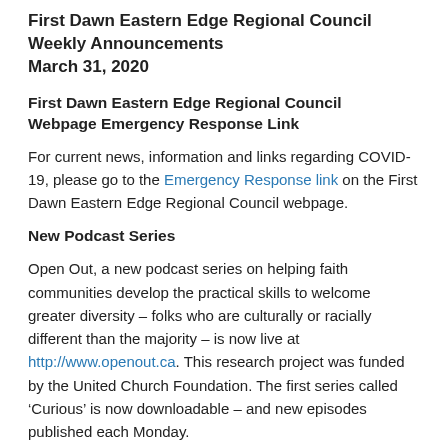First Dawn Eastern Edge Regional Council Weekly Announcements March 31, 2020
First Dawn Eastern Edge Regional Council Webpage Emergency Response Link
For current news, information and links regarding COVID-19, please go to the Emergency Response link on the First Dawn Eastern Edge Regional Council webpage.
New Podcast Series
Open Out, a new podcast series on helping faith communities develop the practical skills to welcome greater diversity – folks who are culturally or racially different than the majority – is now live at http://www.openout.ca. This research project was funded by the United Church Foundation. The first series called ‘Curious’ is now downloadable – and new episodes published each Monday.